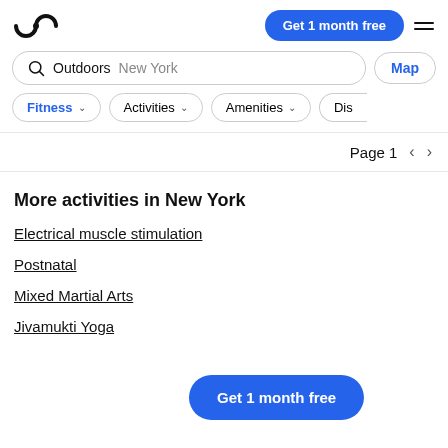ClassPass logo | Get 1 month free | menu
Outdoors New York
Map
Fitness
Activities
Amenities
Dis
Page 1
More activities in New York
Electrical muscle stimulation
Postnatal
Mixed Martial Arts
Jivamukti Yoga
Get 1 month free